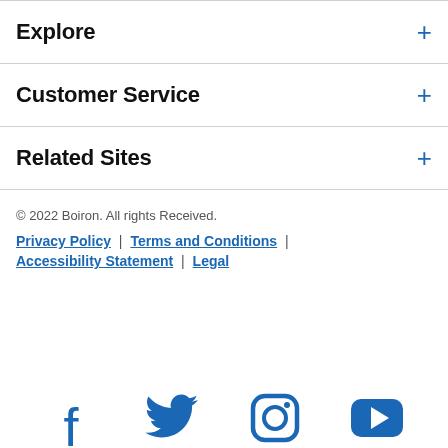Explore
Customer Service
Related Sites
© 2022 Boiron. All rights Received.
Privacy Policy | Terms and Conditions | Accessibility Statement | Legal
[Figure (illustration): Social media icons: Facebook, Twitter, Instagram, YouTube]